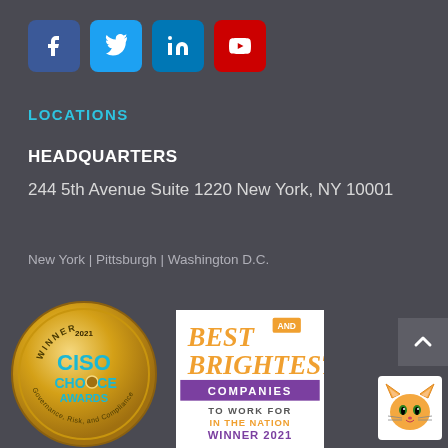[Figure (other): Social media icons: Facebook (blue), Twitter (light blue), LinkedIn (blue), YouTube (red)]
LOCATIONS
HEADQUARTERS
244 5th Avenue Suite 1220 New York, NY 10001
New York | Pittsburgh | Washington D.C.
[Figure (other): CISO Choice Awards 2021 Winner gold coin badge — Governance, Risk, and Compliance — Lynx Technology Partners]
[Figure (other): Best and Brightest Companies to Work For in the Nation — Winner 2021]
[Figure (other): Small cat mascot icon]